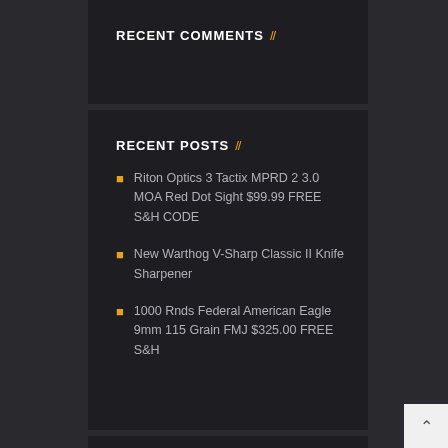RECENT COMMENTS //
RECENT POSTS //
Riton Optics 3 Tactix MPRD 2 3.0 MOA Red Dot Sight $99.99 FREE S&H CODE
New Warthog V-Sharp Classic II Knife Sharpener
1000 Rnds Federal American Eagle 9mm 115 Grain FMJ $325.00 FREE S&H
CALENDAR //